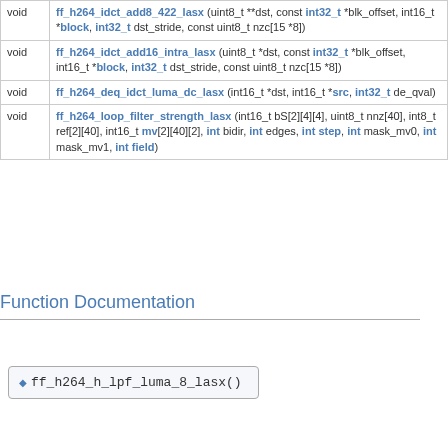| Return | Function |
| --- | --- |
| void | ff_h264_idct_add8_422_lasx (uint8_t **dst, const int32_t *blk_offset, int16_t *block, int32_t dst_stride, const uint8_t nzc[15 *8]) |
| void | ff_h264_idct_add16_intra_lasx (uint8_t *dst, const int32_t *blk_offset, int16_t *block, int32_t dst_stride, const uint8_t nzc[15 *8]) |
| void | ff_h264_deq_idct_luma_dc_lasx (int16_t *dst, int16_t *src, int32_t de_qval) |
| void | ff_h264_loop_filter_strength_lasx (int16_t bS[2][4][4], uint8_t nnz[40], int8_t ref[2][40], int16_t mv[2][40][2], int bidir, int edges, int step, int mask_mv0, int mask_mv1, int field) |
Function Documentation
◆ ff_h264_h_lpf_luma_8_lasx()